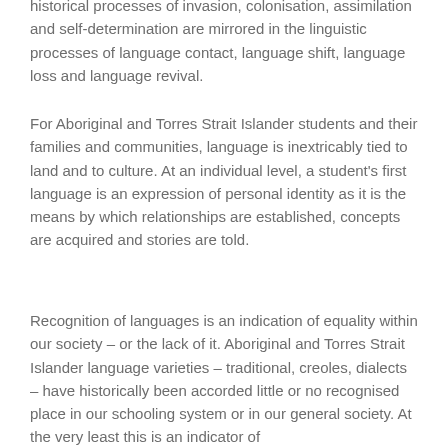historical processes of invasion, colonisation, assimilation and self-determination are mirrored in the linguistic processes of language contact, language shift, language loss and language revival.
For Aboriginal and Torres Strait Islander students and their families and communities, language is inextricably tied to land and to culture. At an individual level, a student's first language is an expression of personal identity as it is the means by which relationships are established, concepts are acquired and stories are told.
Recognition of languages is an indication of equality within our society – or the lack of it. Aboriginal and Torres Strait Islander language varieties – traditional, creoles, dialects – have historically been accorded little or no recognised place in our schooling system or in our general society. At the very least this is an indicator of